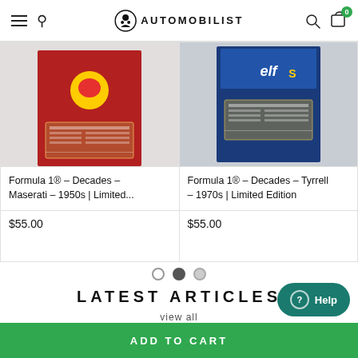AUTOMOBILIST
[Figure (photo): Product image of Formula 1 Decades Maserati 1950s Limited Edition poster with red background]
Formula 1® – Decades – Maserati – 1950s | Limited...
$55.00
[Figure (photo): Product image of Formula 1 Decades Tyrrell 1970s Limited Edition poster with blue background and elf sponsor logo]
Formula 1® – Decades – Tyrrell – 1970s | Limited Edition
$55.00
LATEST ARTICLES
view all
ADD TO CART